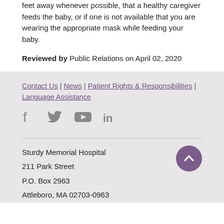feet away whenever possible, that a healthy caregiver feeds the baby, or if one is not available that you are wearing the appropriate mask while feeding your baby.
Reviewed by Public Relations on April 02, 2020
Contact Us | News | Patient Rights & Responsibilities | Language Assistance
[Figure (other): Social media icons: Facebook, Twitter, YouTube, LinkedIn]
Sturdy Memorial Hospital
211 Park Street
P.O. Box 2963
Attleboro, MA 02703-0963